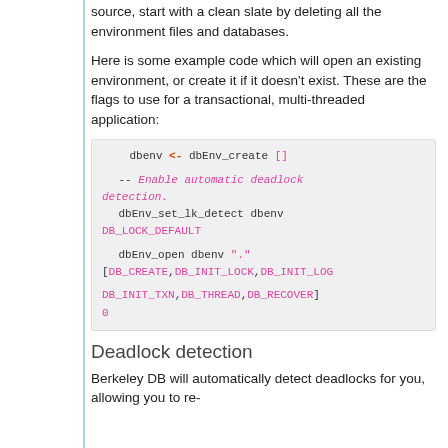source, start with a clean slate by deleting all the environment files and databases.
Here is some example code which will open an existing environment, or create it if it doesn't exist. These are the flags to use for a transactional, multi-threaded application:
dbenv <- dbEnv_create []

-- Enable automatic deadlock detection.
dbEnv_set_lk_detect dbenv DB_LOCK_DEFAULT

dbEnv_open dbenv "."
[DB_CREATE,DB_INIT_LOCK,DB_INIT_LOG,
DB_INIT_TXN,DB_THREAD,DB_RECOVER]
0
Deadlock detection
Berkeley DB will automatically detect deadlocks for you, allowing you to re-